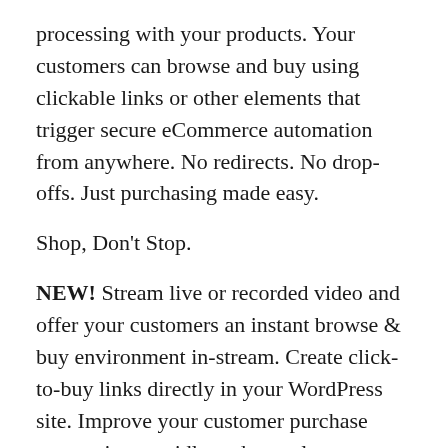processing with your products. Your customers can browse and buy using clickable links or other elements that trigger secure eCommerce automation from anywhere. No redirects. No drop-offs. Just purchasing made easy.
Shop, Don't Stop.
NEW! Stream live or recorded video and offer your customers an instant browse & buy environment in-stream. Create click-to-buy links directly in your WordPress site. Improve your customer purchase conversions rapidly and at scale.
Keep Them Close To The Content.
Create locked payment gateways for any WordPress page. Keep your customers immersed in your content with a simple payment gateway. It's that simple. Ecommerce automation, made easy. That's